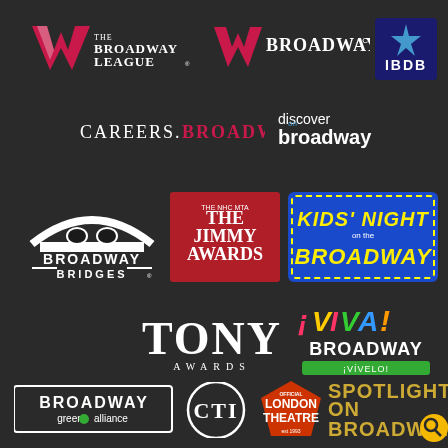[Figure (logo): The Broadway League logo with pink/red W emblem]
[Figure (logo): Broadway.com logo with red W emblem]
[Figure (logo): IBDB logo on dark blue background with star]
[Figure (logo): Careers.Broadway logo in white and red text]
[Figure (logo): discover broadway logo in white/blue text]
[Figure (logo): Broadway Bridges logo white on dark with arch graphic]
[Figure (logo): The NHC MTA Jimmy Awards logo on red background]
[Figure (logo): Kids Night on Broadway logo colorful on blue background]
[Figure (logo): Tony Awards logo in white text]
[Figure (logo): iViva Broadway iVivelo colorful logo]
[Figure (logo): Broadway Green Alliance logo white text with green leaf]
[Figure (logo): CTI circular logo]
[Figure (logo): Official London Theatre pentagon shaped logo red/orange]
[Figure (logo): Spotlight on Broadway logo in gold/yellow text with search icon]